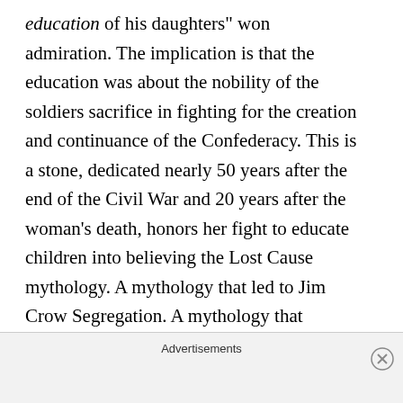education of his daughters” won admiration. The implication is that the education was about the nobility of the soldiers sacrifice in fighting for the creation and continuance of the Confederacy. This is a stone, dedicated nearly 50 years after the end of the Civil War and 20 years after the woman’s death, honors her fight to educate children into believing the Lost Cause mythology. A mythology that led to Jim Crow Segregation. A mythology that attempted (mostly successfully) to undo the gains of Reconstruction for the Freedman of the South for nearly a century. A mythology that would go on to infect the North as well as the
Advertisements